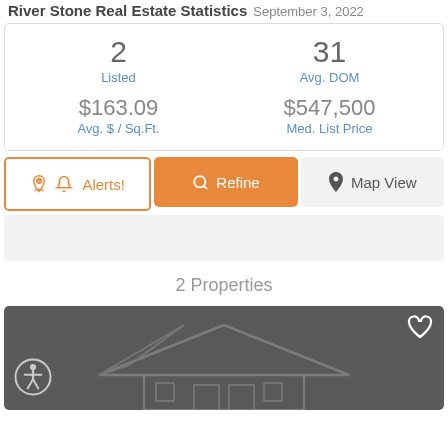River Stone Real Estate Statistics September 3, 2022
2
Listed
31
Avg. DOM
$163.09
Avg. $ / Sq.Ft.
$547,500
Med. List Price
Alerts!
Refine
Map View
2 Properties
[Figure (photo): Dark grey property listing card with house outline silhouette, heart/favorite icon in top-right corner, and accessibility icon in bottom-left corner]